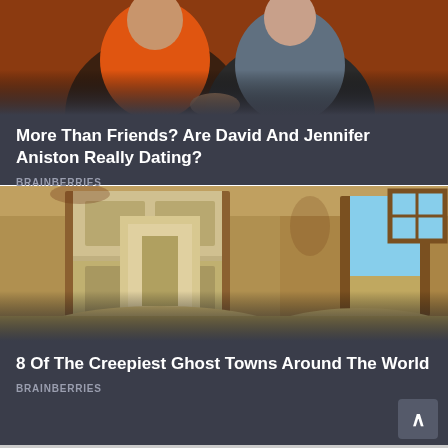[Figure (photo): Two people sitting together — a woman in an orange top and a man in a grey shirt — against a brick background]
More Than Friends? Are David And Jennifer Aniston Really Dating?
BRAINBERRIES
[Figure (photo): Interior of an abandoned building filled with sand drifts, with wooden door frames and a blue-sky window visible]
8 Of The Creepiest Ghost Towns Around The World
BRAINBERRIES